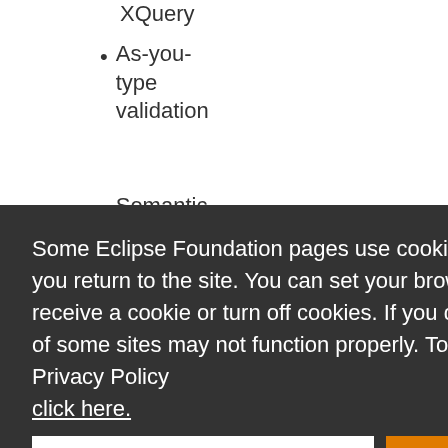XQuery
As-you-type validation
Semantic checking
Some Eclipse Foundation pages use cookies to better serve you when you return to the site. You can set your browser to notify you before you receive a cookie or turn off cookies. If you do so, however, some areas of some sites may not function properly. To read Eclipse Foundation Privacy Policy
click here.
Decline
Allow cookies
early the nloaded
s here:
il/xquery-
pers